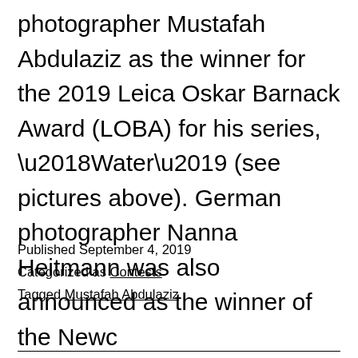photographer Mustafah Abdulaziz as the winner for the 2019 Leica Oskar Barnack Award (LOBA) for his series, ‘Water’ (see pictures above). German photographer Nanna Heitmann was also announced as the winner of the Newc
Published September 4, 2019
Categorized as Contests
Tagged Mustafah Abdulaziz